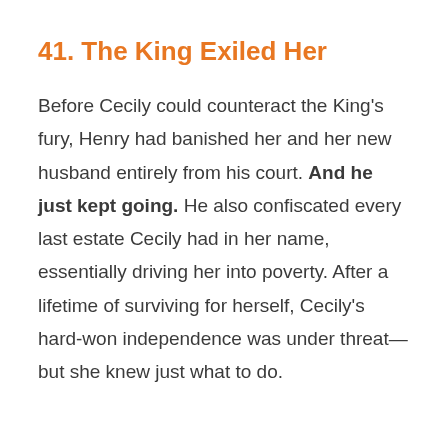41. The King Exiled Her
Before Cecily could counteract the King's fury, Henry had banished her and her new husband entirely from his court. And he just kept going. He also confiscated every last estate Cecily had in her name, essentially driving her into poverty. After a lifetime of surviving for herself, Cecily's hard-won independence was under threat—but she knew just what to do.